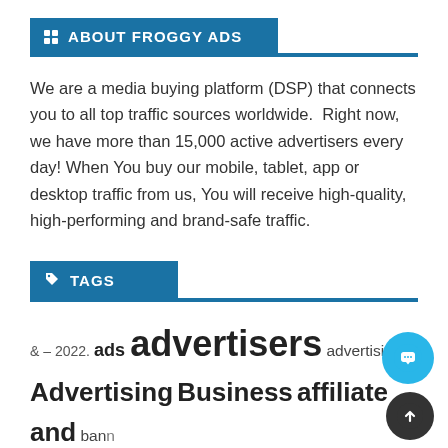ABOUT FROGGY ADS
We are a media buying platform (DSP) that connects you to all top traffic sources worldwide. Right now, we have more than 15,000 active advertisers every day! When You buy our mobile, tablet, app or desktop traffic from us, You will receive high-quality, high-performing and brand-safe traffic.
TAGS
& – 2022. ads advertisers advertising Advertising Business affiliate and bann best blog Business business management case study digital for google how make marketing marketing news marketing